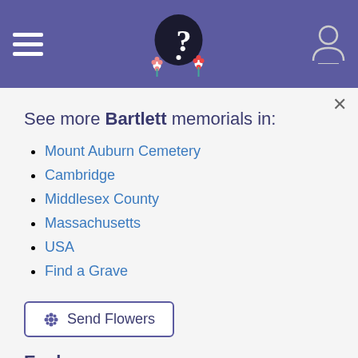Find a Grave navigation header with hamburger menu, logo, and user icon
See more Bartlett memorials in:
Mount Auburn Cemetery
Cambridge
Middlesex County
Massachusetts
USA
Find a Grave
✿ Send Flowers
Explore more
John Bartlett in Newspapers
John Bartlett in Military Records